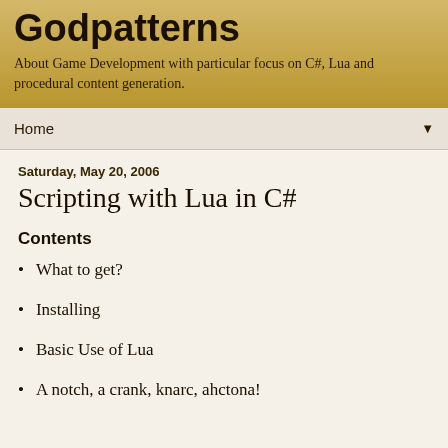Godpatterns
About Game Development with particular focus on C#, Lua and procedural content generation.
Home ▼
Saturday, May 20, 2006
Scripting with Lua in C#
Contents
What to get?
Installing
Basic Use of Lua
A notch, a crank, knarc, ahctona!